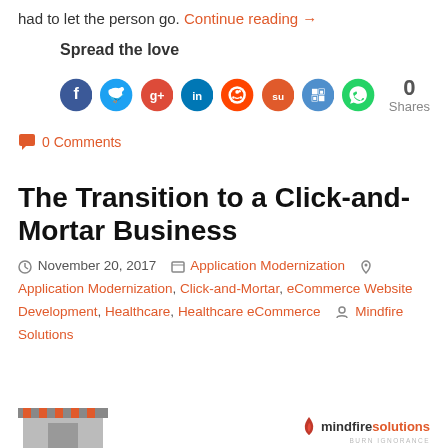had to let the person go. Continue reading →
Spread the love
[Figure (other): Social share buttons: Facebook, Twitter, Google+, LinkedIn, Reddit, StumbleUpon, Delicious, WhatsApp; 0 Shares]
0 Comments
The Transition to a Click-and-Mortar Business
November 20, 2017   Application Modernization   Application Modernization, Click-and-Mortar, eCommerce Website Development, Healthcare, Healthcare eCommerce   Mindfire Solutions
[Figure (photo): Store thumbnail image at bottom left; Mindfire Solutions logo at bottom right]